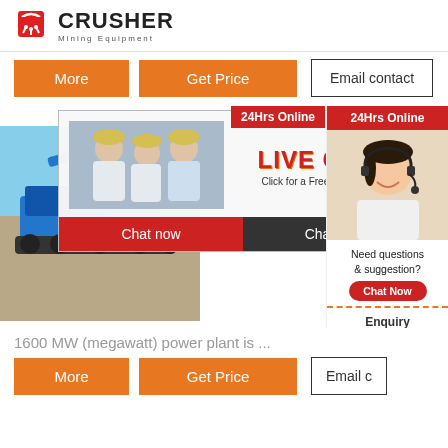[Figure (logo): Crusher Mining Equipment logo with red shopping bag icon and bold CRUSHER text]
More   Get Price
Email contact
[Figure (photo): Live chat popup overlay showing workers in yellow hard hats, LIVE CHAT heading, Click for a Free Consultation text, Chat now and Chat later buttons, overlaid on mining equipment and customer service representative photos]
24Hrs Online
[Figure (photo): Customer service representative with headset smiling]
Need questions & suggestion?
Chat Now
Enquiry
limingjlmofen@sina.com
1600 MW (megawatt) power plant is ...
More   Get Price
Email c